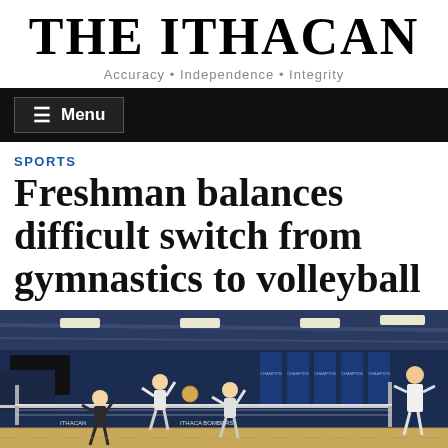THE ITHACAN
Accuracy • Independence • Integrity
SPORTS
Freshman balances difficult switch from gymnastics to volleyball
[Figure (photo): Volleyball players jumping at the net in a gymnasium with blue walls and championship banners; a referee stands to the right.]